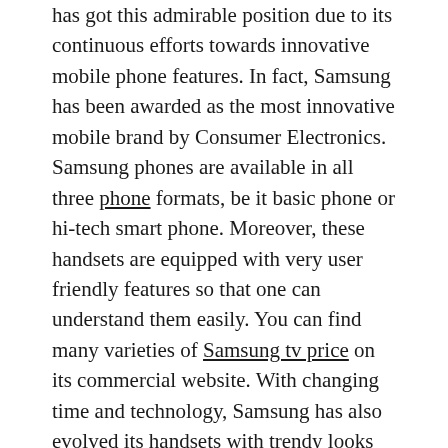has got this admirable position due to its continuous efforts towards innovative mobile phone features. In fact, Samsung has been awarded as the most innovative mobile brand by Consumer Electronics. Samsung phones are available in all three phone formats, be it basic phone or hi-tech smart phone. Moreover, these handsets are equipped with very user friendly features so that one can understand them easily. You can find many varieties of Samsung tv price on its commercial website. With changing time and technology, Samsung has also evolved its handsets with trendy looks and mobile phone features.
In the market, you can find Samsung Mobile Phones, camera phones, multimedia phones, 3G phones, touchscreen, flap, slider, smart phones (entry level + mid level + hi-tech) etc. In other words, Samsung has brought something for everyone. So the Samsung handsets have...